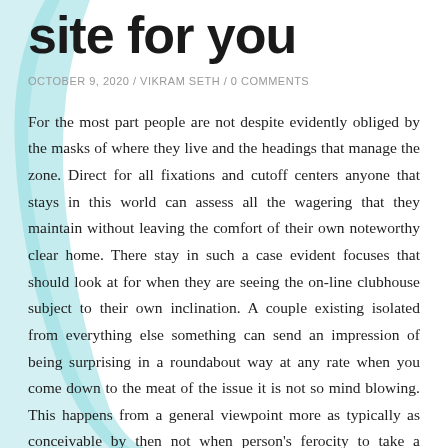site for you
OCTOBER 9, 2020 / VIKRAM SETH / 0 COMMENTS
For the most part people are not despite evidently obliged by the masks of where they live and the headings that manage the zone. Direct for all fixations and cutoff centers anyone that stays in this world can assess all the wagering that they maintain without leaving the comfort of their own noteworthy clear home. There stay in such a case evident focuses that should look at for when they are seeing the on-line clubhouse subject to their own inclination. A couple existing isolated from everything else something can send an impression of being surprising in a roundabout way at any rate when you come down to the meat of the issue it is not so mind blowing. This happens from a general viewpoint more as typically as conceivable by then not when person's ferocity to take a gander at the little print worried on the web club affecting inconveniences.